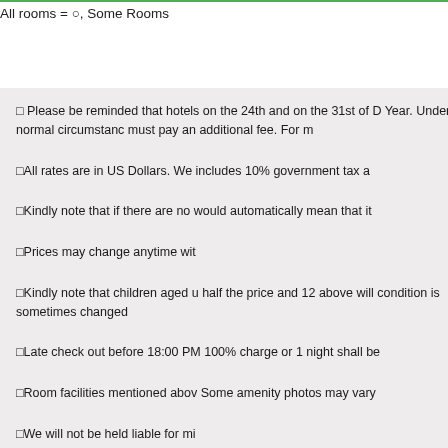All rooms = ○, Some Rooms only = △
□ Please be reminded that hotels on the 24th and on the 31st of D Year. Under normal circumstanc must pay an additional fee. For m
□ All rates are in US Dollars. We includes 10% government tax a
□ Kindly note that if there are no would automatically mean that it
□ Prices may change anytime wit
□ Kindly note that children aged u half the price and 12 above will condition is sometimes changed
□ Late check out before 18:00 PM 100% charge or 1 night shall be
□ Room facilities mentioned abov Some amenity photos may vary
□ We will not be held liable for mi